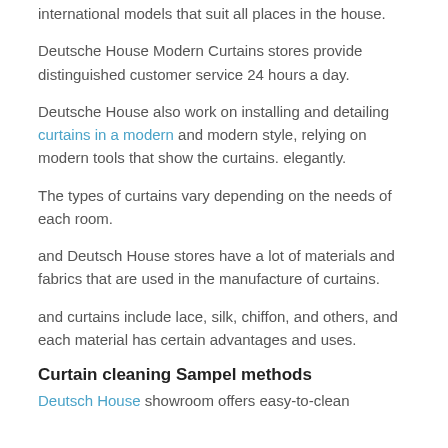international models that suit all places in the house.
Deutsche House Modern Curtains stores provide distinguished customer service 24 hours a day.
Deutsche House also work on installing and detailing curtains in a modern and modern style, relying on modern tools that show the curtains. elegantly.
The types of curtains vary depending on the needs of each room.
and Deutsch House stores have a lot of materials and fabrics that are used in the manufacture of curtains.
and curtains include lace, silk, chiffon, and others, and each material has certain advantages and uses.
Curtain cleaning Sampel methods
Deutsch House showroom offers easy-to-clean